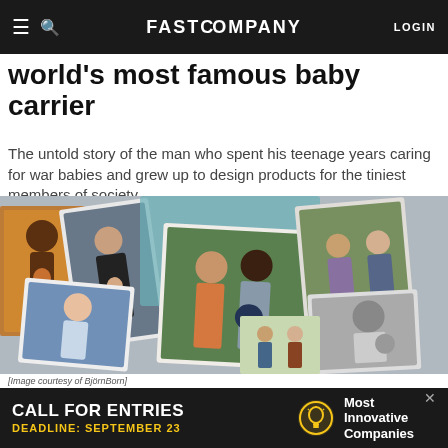FAST COMPANY   LOGIN
world's most famous baby carrier
The untold story of the man who spent his teenage years caring for war babies and grew up to design products for the tiniest members of society.
[Figure (photo): A collage of multiple photographs showing people using baby carriers in various settings, including outdoor and indoor scenes, both color and black-and-white images.]
[Image courtesy of BjornBorn]
[Figure (infographic): Advertisement banner: CALL FOR ENTRIES - DEADLINE: SEPTEMBER 23 - Most Innovative Companies, with a lightbulb icon.]